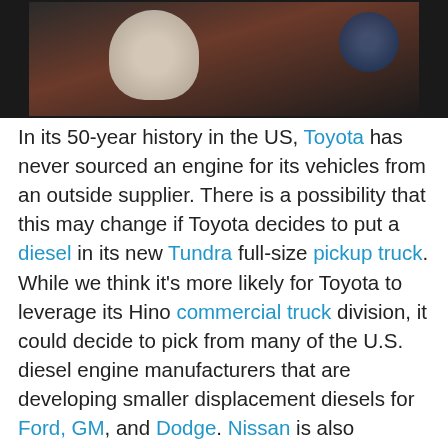[Figure (photo): Dark photograph showing what appears to be a white bird or mascot costume and a dark background with reddish tones, along with a blue circular element on the right side.]
In its 50-year history in the US, Toyota has never sourced an engine for its vehicles from an outside supplier. There is a possibility that this may change if Toyota decides to put a diesel in its new Tundra full-size pickup truck. While we think it's more likely for Toyota to leverage its Hino commercial truck division, it could decide to pick from many of the U.S. diesel engine manufacturers that are developing smaller displacement diesels for Ford, GM, and Dodge. Nissan is also courting a U.S. manufacturer to supply a V8 diesel for its Titan pickup (although Nissan also has it's own diesel manufacturing capability). No one seems to be mentioning Isuzu as a possible supplier, as it has extensive experience with diesels, both large and small (it is currently suppling the DuraMax diesel used by GM).